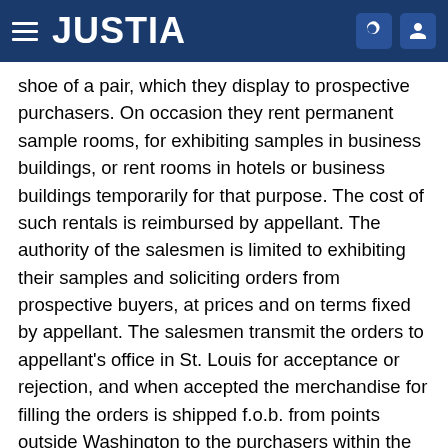JUSTIA
shoe of a pair, which they display to prospective purchasers. On occasion they rent permanent sample rooms, for exhibiting samples in business buildings, or rent rooms in hotels or business buildings temporarily for that purpose. The cost of such rentals is reimbursed by appellant. The authority of the salesmen is limited to exhibiting their samples and soliciting orders from prospective buyers, at prices and on terms fixed by appellant. The salesmen transmit the orders to appellant's office in St. Louis for acceptance or rejection, and when accepted the merchandise for filling the orders is shipped f.o.b. from points outside Washington to the purchasers within the state. All the merchandise shipped into Washington is invoiced at the place of shipment from which collections are made. No salesman has authority to enter into contracts or to make collections." (66 S. Ct. 154, 157.) Although the